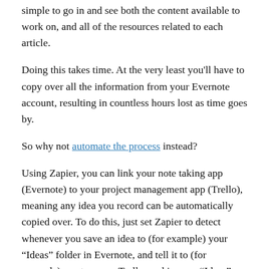simple to go in and see both the content available to work on, and all of the resources related to each article.
Doing this takes time. At the very least you'll have to copy over all the information from your Evernote account, resulting in countless hours lost as time goes by.
So why not automate the process instead?
Using Zapier, you can link your note taking app (Evernote) to your project management app (Trello), meaning any idea you record can be automatically copied over. To do this, just set Zapier to detect whenever you save an idea to (for example) your “Ideas” folder in Evernote, and tell it to (for example) create a new Trello card in your “Ideas” column.
Schedule a time to sort through your ideas